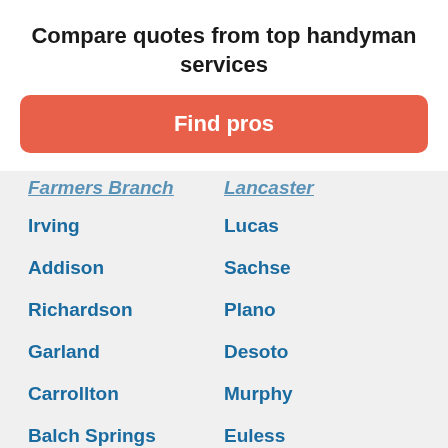Compare quotes from top handyman services
[Figure (other): Find pros button - orange/red rounded rectangle CTA button]
Farmers Branch | Lancaster
Irving | Lucas
Addison | Sachse
Richardson | Plano
Garland | Desoto
Carrollton | Murphy
Balch Springs | Euless